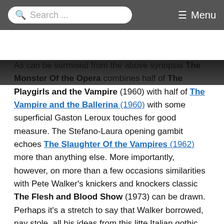Search ... Menu
[Figure (photo): Black and white film still strip partially visible at the top]
As can be surmised from the above synopsis The Monster Of the Opera combines half of The Playgirls and the Vampire (1960) with half of The Vampire and the Ballerina (1960) with some superficial Gaston Leroux touches for good measure. The Stefano-Laura opening gambit echoes The Slaughter Of the Vampires (1962) more than anything else. More importantly, however, on more than a few occasions similarities with Pete Walker's knickers and knockers classic The Flesh and Blood Show (1973) can be drawn. Perhaps it's a stretch to say that Walker borrowed, nay stole, all his ideas from this litte Italian gothic, but the similarities